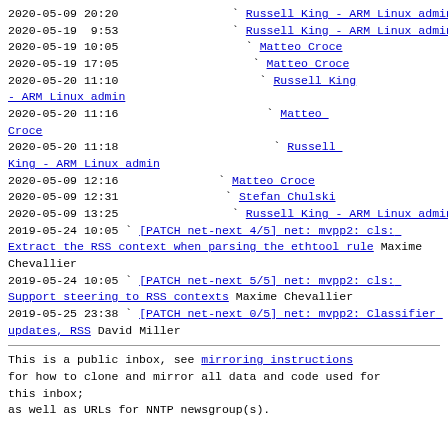2020-05-09 20:20  Russell King - ARM Linux admin
2020-05-19  9:53  Russell King - ARM Linux admin
2020-05-19 10:05  Matteo Croce
2020-05-19 17:05   Matteo Croce
2020-05-20 11:10   Russell King - ARM Linux admin
2020-05-20 11:16   Matteo Croce
2020-05-20 11:18   Russell King - ARM Linux admin
2020-05-09 12:16  Matteo Croce
2020-05-09 12:31   Stefan Chulski
2020-05-09 13:25   Russell King - ARM Linux admin
2019-05-24 10:05  [PATCH net-next 4/5] net: mvpp2: cls: Extract the RSS context when parsing the ethtool rule Maxime Chevallier
2019-05-24 10:05  [PATCH net-next 5/5] net: mvpp2: cls: Support steering to RSS contexts Maxime Chevallier
2019-05-25 23:38  [PATCH net-next 0/5] net: mvpp2: Classifier updates, RSS David Miller
This is a public inbox, see mirroring instructions for how to clone and mirror all data and code used for this inbox;
as well as URLs for NNTP newsgroup(s).